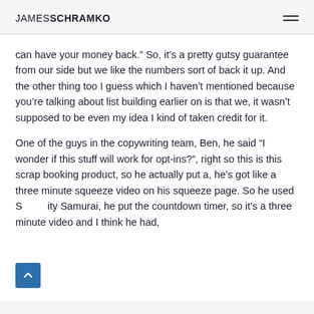JAMES SCHRAMKO
can have your money back.” So, it’s a pretty gutsy guarantee from our side but we like the numbers sort of back it up. And the other thing too I guess which I haven’t mentioned because you’re talking about list building earlier on is that we, it wasn’t supposed to be even my idea I kind of taken credit for it.
One of the guys in the copywriting team, Ben, he said “I wonder if this stuff will work for opt-ins?”, right so this is this scrap booking product, so he actually put a, he’s got like a three minute squeeze video on his squeeze page. So he used Scarcity Samurai, he put the countdown timer, so it’s a three minute video and I think he had,